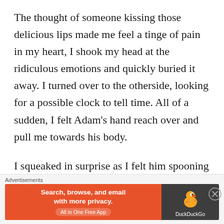The thought of someone kissing those delicious lips made me feel a tinge of pain in my heart, I shook my head at the ridiculous emotions and quickly buried it away. I turned over to the otherside, looking for a possible clock to tell time. All of a sudden, I felt Adam's hand reach over and pull me towards his body.
I squeaked in surprise as I felt him spooning me into his arms. His head snuggled into my hair as he inhaled deeply of my scent. For a moment there I froze, unable to comprehend what just
Advertisements
[Figure (other): DuckDuckGo advertisement banner. Left orange section reads 'Search, browse, and email with more privacy. All in One Free App'. Right dark section shows DuckDuckGo duck logo and brand name.]